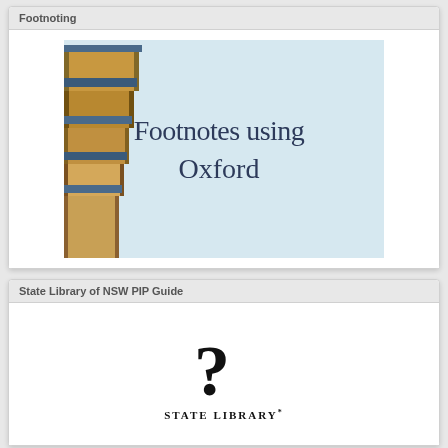Footnoting
[Figure (illustration): Thumbnail image showing a stack of books on the left with a light blue background on the right displaying the text 'Footnotes using Oxford' in dark blue serif font.]
State Library of NSW PIP Guide
[Figure (logo): State Library of NSW logo: a large question mark above the text 'STATE LIBRARY*' in bold serif font.]